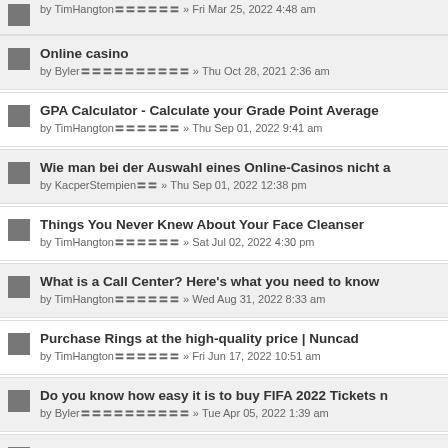by TimHangton〓〓〓〓〓〓 » Fri Mar 25, 2022 4:48 am
Online casino
by Byler〓〓〓〓〓〓〓〓〓〓 » Thu Oct 28, 2021 2:36 am
GPA Calculator - Calculate your Grade Point Average
by TimHangton〓〓〓〓〓〓 » Thu Sep 01, 2022 9:41 am
Wie man bei der Auswahl eines Online-Casinos nicht a
by KacperStempien〓〓 » Thu Sep 01, 2022 12:38 pm
Things You Never Knew About Your Face Cleanser
by TimHangton〓〓〓〓〓〓 » Sat Jul 02, 2022 4:30 pm
What is a Call Center? Here's what you need to know
by TimHangton〓〓〓〓〓〓 » Wed Aug 31, 2022 8:33 am
Purchase Rings at the high-quality price | Nuncad
by TimHangton〓〓〓〓〓〓 » Fri Jun 17, 2022 10:51 am
Do you know how easy it is to buy FIFA 2022 Tickets n
by Byler〓〓〓〓〓〓〓〓〓〓 » Tue Apr 05, 2022 1:39 am
who are the best travel bloggers?
by Xianders〓〓〓〓〓〓 » Tue Aug 16, 2022 3:19 pm